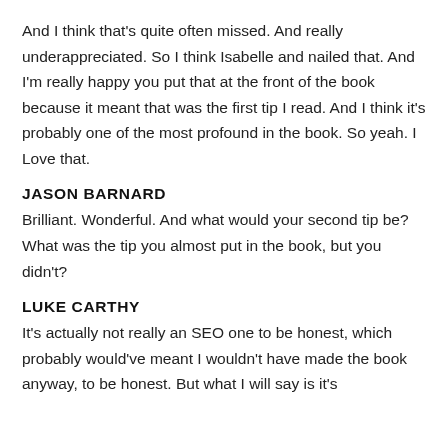And I think that's quite often missed. And really underappreciated. So I think Isabelle and nailed that. And I'm really happy you put that at the front of the book because it meant that was the first tip I read. And I think it's probably one of the most profound in the book. So yeah. I Love that.
JASON BARNARD
Brilliant. Wonderful. And what would your second tip be? What was the tip you almost put in the book, but you didn't?
LUKE CARTHY
It's actually not really an SEO one to be honest, which probably would've meant I wouldn't have made the book anyway, to be honest. But what I will say is it's